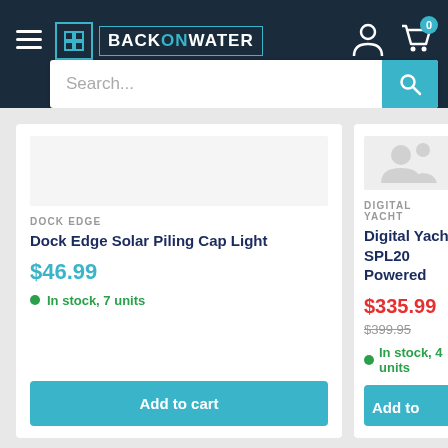BACKONWATER
Search...
DOCK EDGE
Dock Edge Solar Piling Cap Light
$46.99
In stock, 7 units
Add to cart
DIGITAL YACHT
Digital Yacht SPL20 Powered Antenna S
$335.99 $399.95
In stock, 4 units
Add to